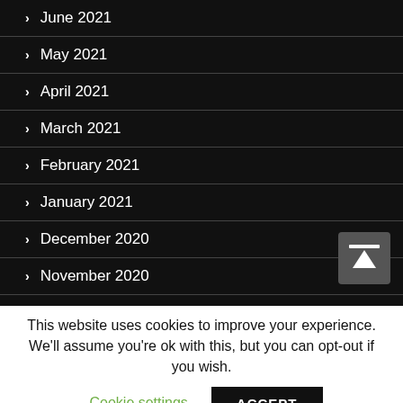> June 2021
> May 2021
> April 2021
> March 2021
> February 2021
> January 2021
> December 2020
> November 2020
> October 2020
This website uses cookies to improve your experience. We'll assume you're ok with this, but you can opt-out if you wish.
Cookie settings  ACCEPT